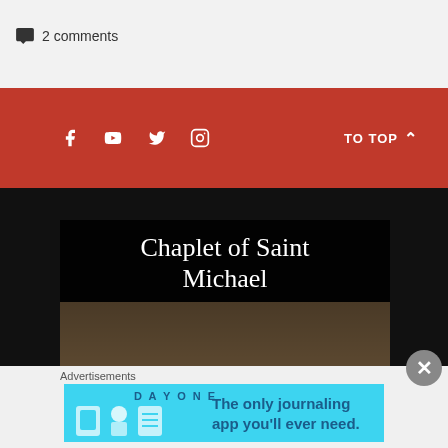2 comments
[Figure (infographic): Red footer bar with social media icons (Facebook, YouTube, Twitter, Instagram) and TO TOP navigation link with arrow]
[Figure (infographic): Dark card showing 'Chaplet of Saint Michael Paracord and' article preview against black background with brown textured image below]
Advertisements
[Figure (infographic): Day One journaling app advertisement banner with cyan background, app icons, and tagline 'The only journaling app you'll ever need.']